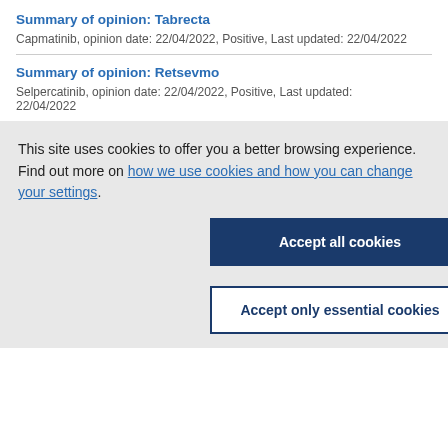Summary of opinion: Tabrecta
Capmatinib, opinion date: 22/04/2022, Positive, Last updated: 22/04/2022
Summary of opinion: Retsevmo
Selpercatinib, opinion date: 22/04/2022, Positive, Last updated: 22/04/2022
This site uses cookies to offer you a better browsing experience. Find out more on how we use cookies and how you can change your settings.
Accept all cookies
Accept only essential cookies